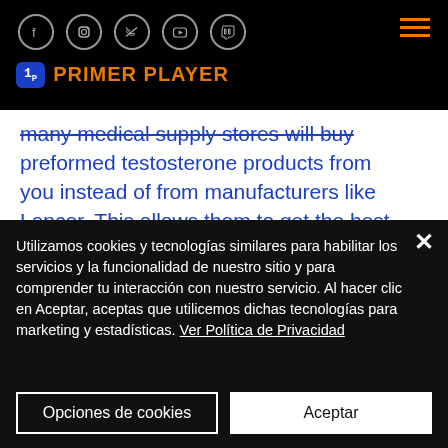Primer Player — header with social icons and logo
many medical supply stores will buy preformed testosterone products from you instead of from manufacturers like Lancer. This allows them to get the best product for their patients and allows for the lowest price. A few medical supply stores carry brand name drugs.

Some of the best generic brands of
Utilizamos cookies y tecnologías similares para habilitar los servicios y la funcionalidad de nuestro sitio y para comprender tu interacción con nuestro servicio. Al hacer clic en Aceptar, aceptas que utilicemos dichas tecnologías para marketing y estadísticas. Ver Política de Privacidad
Opciones de cookies
Aceptar